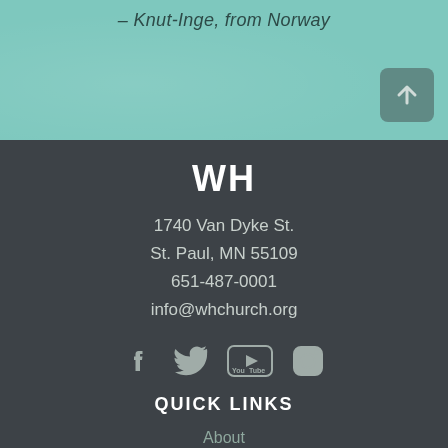– Knut-Inge, from Norway
WH
1740 Van Dyke St.
St. Paul, MN 55109
651-487-0001
info@whchurch.org
[Figure (infographic): Social media icons: Facebook, Twitter, YouTube, Instagram]
QUICK LINKS
About
Latest News